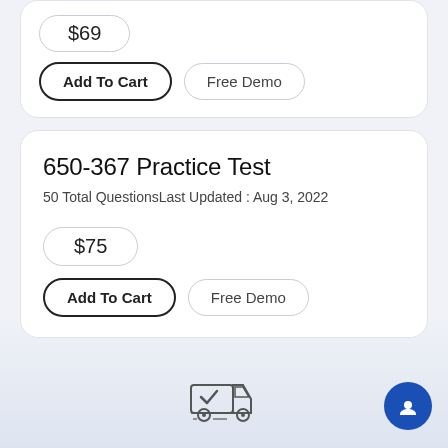$69
Add To Cart
Free Demo
650-367 Practice Test
50 Total QuestionsLast Updated : Aug 3, 2022
$75
Add To Cart
Free Demo
[Figure (illustration): Delivery truck icon with a checkmark on the side]